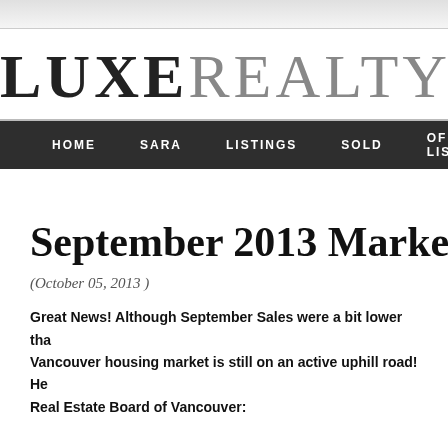LUXEREALTY
HOME   SARA   LISTINGS   SOLD   OFFICE LISTINGS
September 2013 Market Up
(October 05, 2013 )
Great News!  Although September Sales were a bit lower than Vancouver housing market is still on an active uphill road!  He Real Estate Board of Vancouver: